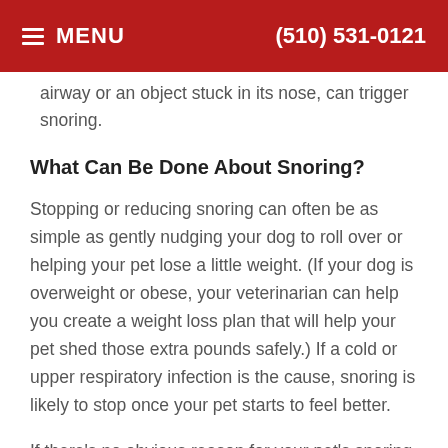MENU  (510) 531-0121
airway or an object stuck in its nose, can trigger snoring.
What Can Be Done About Snoring?
Stopping or reducing snoring can often be as simple as gently nudging your dog to roll over or helping your pet lose a little weight. (If your dog is overweight or obese, your veterinarian can help you create a weight loss plan that will help your pet shed those extra pounds safely.) If a cold or upper respiratory infection is the cause, snoring is likely to stop once your pet starts to feel better.
If there's no obvious reason for your pet's snoring or snoring started suddenly, your vet can help you determine the cause. Removing an abscessed tooth